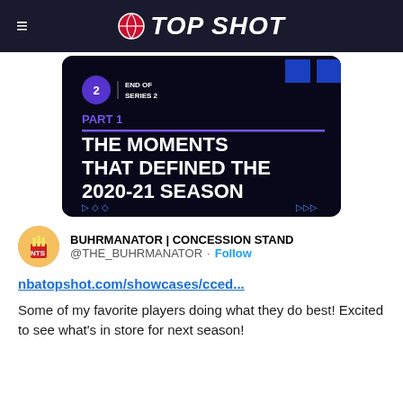NBA TOP SHOT
[Figure (screenshot): NBA Top Shot promotional image: dark background with 'END OF SERIES 2' badge, 'PART 1' in purple text, purple horizontal line, and large white bold text 'THE MOMENTS THAT DEFINED THE 2020-21 SEASON']
BUHRMANATOR | CONCESSION STAND @THE_BUHRMANATOR · Follow
nbatopshot.com/showcases/cced...
Some of my favorite players doing what they do best! Excited to see what's in store for next season!